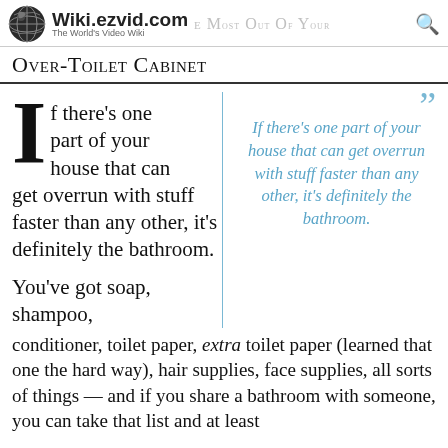Wiki.ezvid.com The World's Video Wiki
Over-Toilet Cabinet
If there's one part of your house that can get overrun with stuff faster than any other, it's definitely the bathroom.
If there's one part of your house that can get overrun with stuff faster than any other, it's definitely the bathroom.
You've got soap, shampoo, conditioner, toilet paper, extra toilet paper (learned that one the hard way), hair supplies, face supplies, all sorts of things — and if you share a bathroom with someone, you can take that list and at least